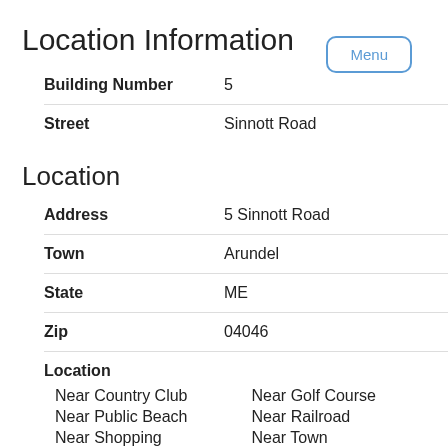Location Information
| Field | Value |
| --- | --- |
| Building Number | 5 |
| Street | Sinnott Road |
Location
| Field | Value |
| --- | --- |
| Address | 5 Sinnott Road |
| Town | Arundel |
| State | ME |
| Zip | 04046 |
| Location | Near Country Club, Near Golf Course, Near Public Beach, Near Railroad, Near Shopping, Near Town |